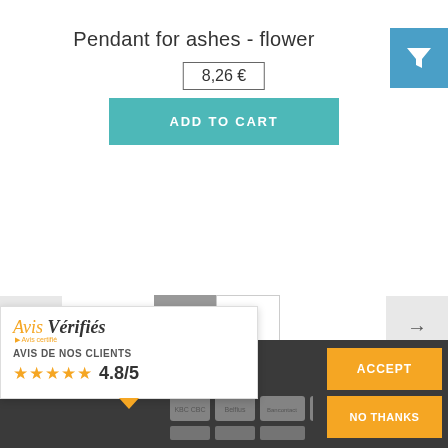Pendant for ashes - flower
8,26 €
ADD TO CART
← 1 2 →
Cookie Policy
This site uses cookies to store information
ACCEPT
NO THANKS
[Figure (logo): Avis Vérifiés widget showing AVIS DE NOS CLIENTS with 4.8/5 star rating]
[Figure (logo): Blue filter/funnel icon button in top right corner]